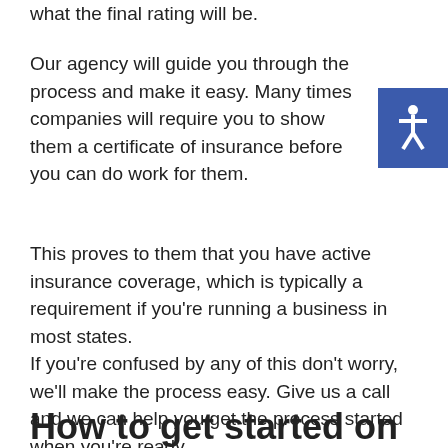what the final rating will be.
Our agency will guide you through the process and make it easy. Many times companies will require you to show them a certificate of insurance before you can do work for them.
This proves to them that you have active insurance coverage, which is typically a requirement if you're running a business in most states.
If you're confused by any of this don't worry, we'll make the process easy. Give us a call and we can help you get the process started when you're ready.
How to get started on